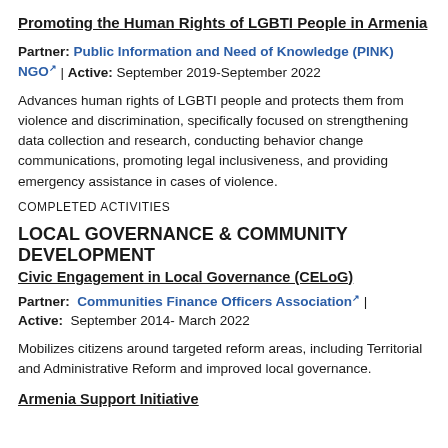Promoting the Human Rights of LGBTI People in Armenia
Partner: Public Information and Need of Knowledge (PINK) NGO | Active: September 2019-September 2022
Advances human rights of LGBTI people and protects them from violence and discrimination, specifically focused on strengthening data collection and research, conducting behavior change communications, promoting legal inclusiveness, and providing emergency assistance in cases of violence.
COMPLETED ACTIVITIES
LOCAL GOVERNANCE & COMMUNITY DEVELOPMENT
Civic Engagement in Local Governance (CELoG)
Partner: Communities Finance Officers Association | Active: September 2014- March 2022
Mobilizes citizens around targeted reform areas, including Territorial and Administrative Reform and improved local governance.
Armenia Support Initiative